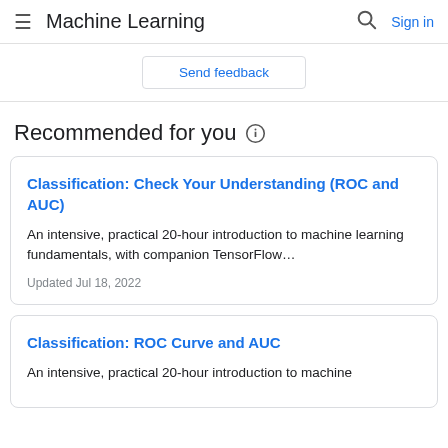Machine Learning
Send feedback
Recommended for you
Classification: Check Your Understanding (ROC and AUC)
An intensive, practical 20-hour introduction to machine learning fundamentals, with companion TensorFlow…
Updated Jul 18, 2022
Classification: ROC Curve and AUC
An intensive, practical 20-hour introduction to machine learning